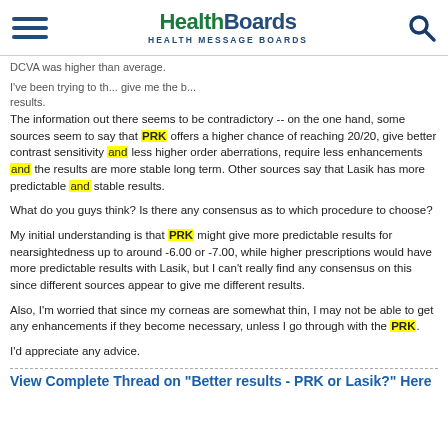HealthBoards HEALTH MESSAGE BOARDS
DCVA was higher than average.
I've been trying to find... give me the best results.
The information out there seems to be contradictory -- on the one hand, some sources seem to say that PRK offers a higher chance of reaching 20/20, give better contrast sensitivity and less higher order aberrations, require less enhancements and the results are more stable long term. Other sources say that Lasik has more predictable and stable results.
What do you guys think? Is there any consensus as to which procedure to choose?
My initial understanding is that PRK might give more predictable results for nearsightedness up to around -6.00 or -7.00, while higher prescriptions would have more predictable results with Lasik, but I can't really find any consensus on this since different sources appear to give me different results.
Also, I'm worried that since my corneas are somewhat thin, I may not be able to get any enhancements if they become necessary, unless I go through with the PRK.
I'd appreciate any advice.
View Complete Thread on "Better results - PRK or Lasik?" Here